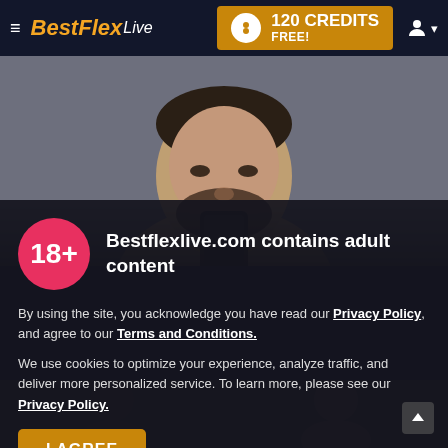BestFlexLive — 120 CREDITS FREE!
[Figure (photo): Man taking a selfie, shirtless with beard, looking down at phone]
Bestflexlive.com contains adult content
By using the site, you acknowledge you have read our Privacy Policy, and agree to our Terms and Conditions.
We use cookies to optimize your experience, analyze traffic, and deliver more personalized service. To learn more, please see our Privacy Policy.
I AGREE